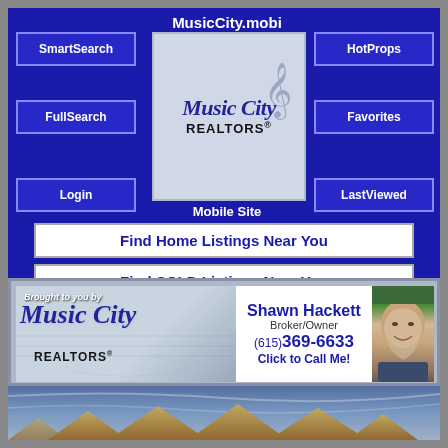MusicCity.mobi
[Figure (logo): Music City Realtors logo with cursive text and musical note graphic]
Mobile Site
SmartSearch
FullSearch
Login
HotProps
Favorites
LastViewed
Find Home Listings Near You
Find SOLD Listings Near You
Thinking of Selling? CLICK HERE!
[Figure (infographic): Ad banner: Brought to you by Music City Realtors. Shawn Hackett, Broker/Owner, (615) 369-6633, Click to Call Me! With photo of agent.]
[Figure (photo): Exterior photo of houses against a cloudy sky, partially visible at bottom of page]